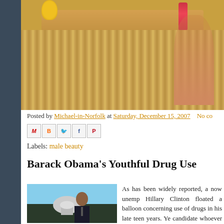[Figure (photo): Top portion of a beach/tropical bar scene with a bamboo table, fruits (pineapple and limes), a cocktail glass with red drink, and a person partially visible on the right side]
Posted by Michael-in-Norfolk at Saturday, December 15, 2007   No co
[Figure (screenshot): Row of social sharing icons: email (M), blogger (B), twitter bird, facebook (f), pinterest (P)]
Labels: male beauty
Barack Obama's Youthful Drug Use
[Figure (photo): Photo of Barack Obama smiling, wearing a dark suit and tie, with the Capitol building dome visible in the background behind him]
As has been widely reported, a now unemp Hillary Clinton floated a balloon concerning use of drugs in his late teen years. Ye candidate whoever he may be will no do should he be the Democrat nominee - as voter views blacks as being like anyway: d cheats and low life types in general. The